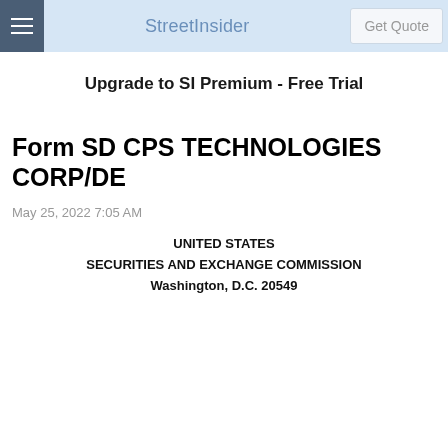StreetInsider | Get Quote
Upgrade to SI Premium - Free Trial
Form SD CPS TECHNOLOGIES CORP/DE
May 25, 2022 7:05 AM
UNITED STATES
SECURITIES AND EXCHANGE COMMISSION
Washington, D.C. 20549